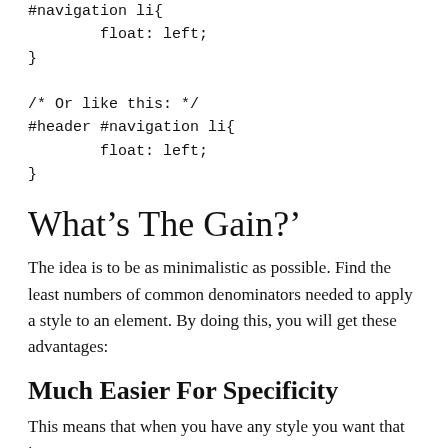#navigation li{
        float: left;
}

/* Or like this: */
#header #navigation li{
        float: left;
}
What’s The Gain?’
The idea is to be as minimalistic as possible. Find the least numbers of common denominators needed to apply a style to an element. By doing this, you will get these advantages:
Much Easier For Specificity
This means that when you have any style you want that is